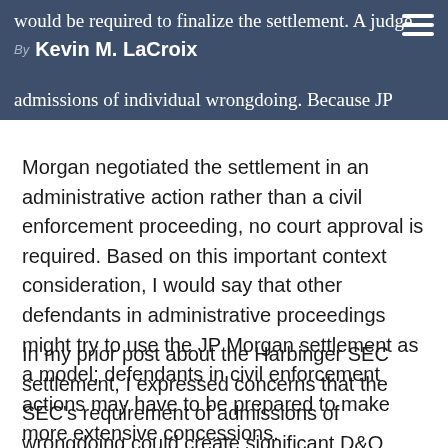would be required to finalize the settlement. A judge
By Kevin M. LaCroix
admissions of individual wrongdoing. Because JP Morgan negotiated the settlement in an administrative action rather than a civil enforcement proceeding, no court approval is required. Based on this important context consideration, I would say that other defendants in administrative proceedings might try to use the JP Morgan settlement as a model; defendants in civil enforcement actions may have to be prepared to make more extensive concessions.
In my prior post about the Harbinger SEC settlement, I expressed concerns that the SEC's requirement of admissions of wrongdoing could create significant D&O coverage issues and potentially could trigger the